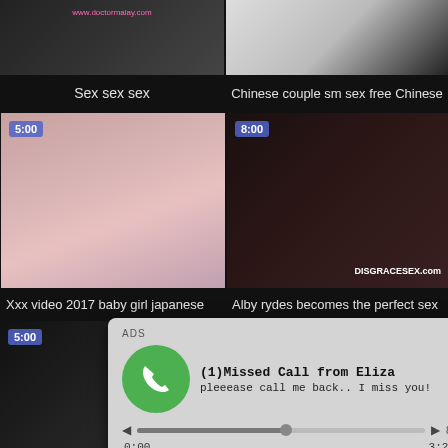[Figure (screenshot): Video thumbnail top-left with watermark www.doctormalay.com]
[Figure (screenshot): Video thumbnail top-right, dark/light split]
Sex sex sex
Chinese couple sm sex free Chinese
[Figure (screenshot): Video thumbnail mid-left with duration badge 5:00]
[Figure (screenshot): Video thumbnail mid-right with duration badge 8:00 and DISGRACESEX.com watermark]
Xxx video 2017 baby girl japanese
Alby rydes becomes the perfect sex
[Figure (screenshot): Bottom row video thumbnails]
[Figure (infographic): ADS overlay popup: (1)Missed Call from Eliza - pleeease call me back.. I miss you! with audio player showing 0:00 / 3:23]